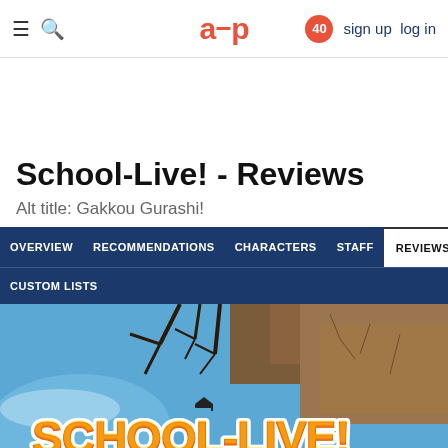≡ 🔍 a∪p  40  sign up  log in
School-Live! - Reviews
Alt title: Gakkou Gurashi!
OVERVIEW  RECOMMENDATIONS  CHARACTERS  STAFF  REVIEWS  CUSTOM LISTS
[Figure (screenshot): School-Live! anime banner image showing a post-apocalyptic sky with dead trees and the School-Live! logo in orange and yellow stylized lettering against a partly blue sky]